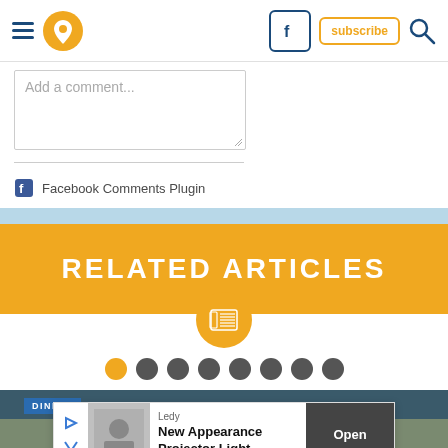Navigation bar with hamburger menu, location icon, Facebook icon, subscribe button, search icon
Add a comment...
Facebook Comments Plugin
RELATED ARTICLES
[Figure (other): Pagination dots: 8 circles, first one orange (active), rest dark grey]
[Figure (photo): Article thumbnail image with DINING label overlay, showing exterior of Imperial Thai restaurant]
[Figure (other): Advertisement overlay: Ledy - New Appearance Projector Light, with Open button]